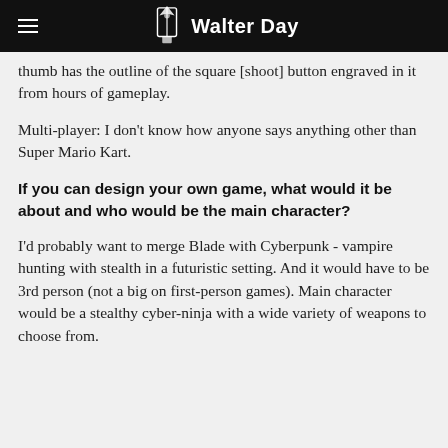Walter Day
thumb has the outline of the square [shoot] button engraved in it from hours of gameplay.
Multi-player: I don't know how anyone says anything other than Super Mario Kart.
If you can design your own game, what would it be about and who would be the main character?
I'd probably want to merge Blade with Cyberpunk - vampire hunting with stealth in a futuristic setting. And it would have to be 3rd person (not a big on first-person games). Main character would be a stealthy cyber-ninja with a wide variety of weapons to choose from.